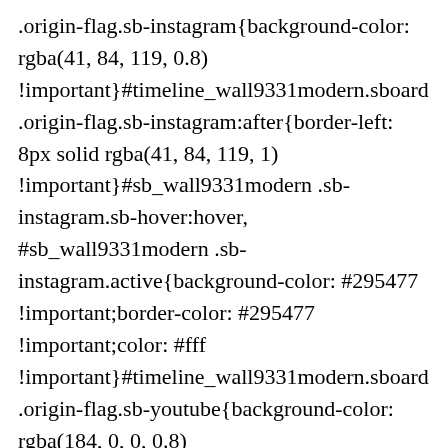.origin-flag.sb-instagram{background-color: rgba(41, 84, 119, 0.8) !important}#timeline_wall9331modern.sboard .origin-flag.sb-instagram:after{border-left: 8px solid rgba(41, 84, 119, 1) !important}#sb_wall9331modern .sb-instagram.sb-hover:hover, #sb_wall9331modern .sb-instagram.active{background-color: #295477 !important;border-color: #295477 !important;color: #fff !important}#timeline_wall9331modern.sboard .origin-flag.sb-youtube{background-color: rgba(184, 0, 0, 0.8) !important}#timeline_wall9331modern.sboard .origin-flag.sb-